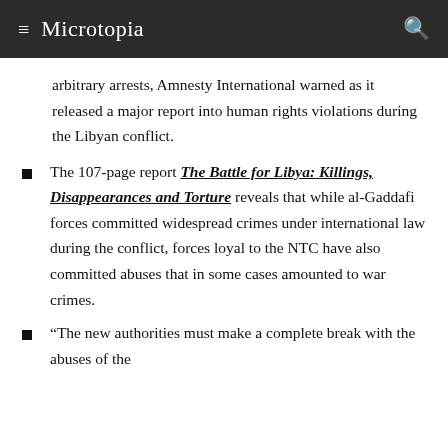Microtopia
arbitrary arrests, Amnesty International warned as it released a major report into human rights violations during the Libyan conflict.
The 107-page report The Battle for Libya: Killings, Disappearances and Torture reveals that while al-Gaddafi forces committed widespread crimes under international law during the conflict, forces loyal to the NTC have also committed abuses that in some cases amounted to war crimes.
“The new authorities must make a complete break with the abuses of the